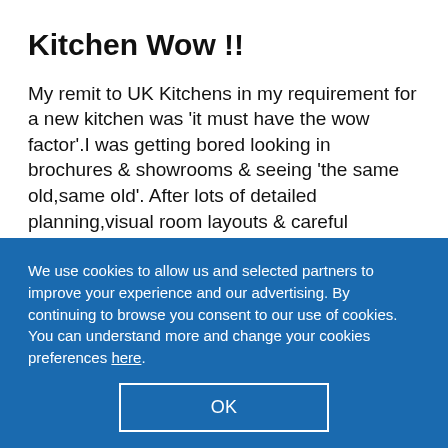Kitchen Wow !!
My remit to UK Kitchens in my requirement for a new kitchen was 'it must have the wow factor'.I was getting bored looking in brochures & showrooms & seeing 'the same old,same old'. After lots of detailed planning,visual room layouts & careful interpretation of my 'wish list',I am now the proud owner of a brand new UK
We use cookies to allow us and selected partners to improve your experience and our advertising. By continuing to browse you consent to our use of cookies. You can understand more and change your cookies preferences here.
OK